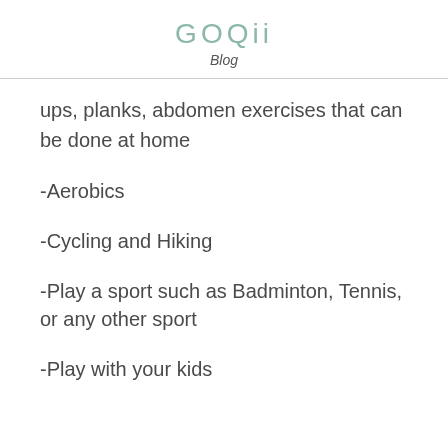GOQii
Blog
ups, planks, abdomen exercises that can be done at home
-Aerobics
-Cycling and Hiking
-Play a sport such as Badminton, Tennis, or any other sport
-Play with your kids